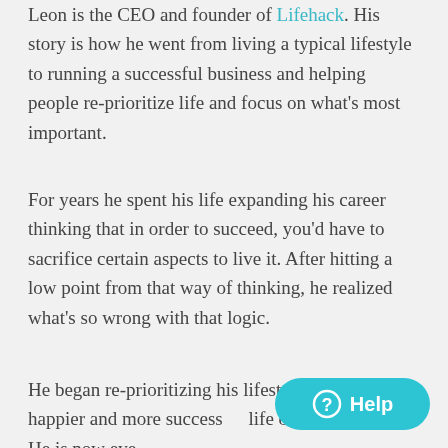Leon is the CEO and founder of Lifehack. His story is how he went from living a typical lifestyle to running a successful business and helping people re-prioritize life and focus on what's most important.
For years he spent his life expanding his career thinking that in order to succeed, you'd have to sacrifice certain aspects to live it. After hitting a low point from that way of thinking, he realized what's so wrong with that logic.
He began re-prioritizing his lifestyle and is living a happier and more successful life on his own terms. He is now ever